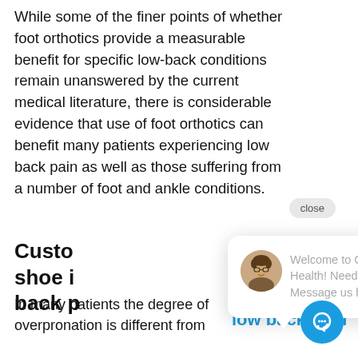While some of the finer points of whether foot orthotics provide a measurable benefit for specific low-back conditions remain unanswered by the current medical literature, there is considerable evidence that use of foot orthotics can benefit many patients experiencing low back pain as well as those suffering from a number of foot and ankle conditions.
Custom shoe insoles for low back pain
In many patients the degree of overpronation is different from
[Figure (screenshot): Chat popup overlay with close button, avatar photo of a person with glasses, and message text: 'Welcome to Chiro-Health! Need help? Message us here...'. A blue link text reads 'orthotics for low back pain'. A blue circular chat button with speech bubble icon is in the bottom-right corner.]